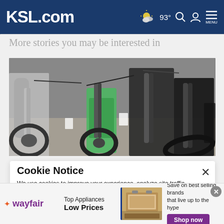KSL.com  ☁ 93°  🔍  👤  MENU
More stories you may be interested in
[Figure (photo): A row of mountain bikes, including a green e-bike, leaning in a showroom or storage area, viewed from the front at low angle]
Cookie Notice
We use cookies to improve your experience, analyze site traffic, and to personalize content and ads. By continuing to use our site, you consent to our use of cookies. Please visit our Terms of Use and  Privacy Policy for more information
[Figure (advertisement): Wayfair advertisement banner: 'Top Appliances Low Prices' with a stove image and 'Save on best selling brands that live up to the hype. Shop now' button]